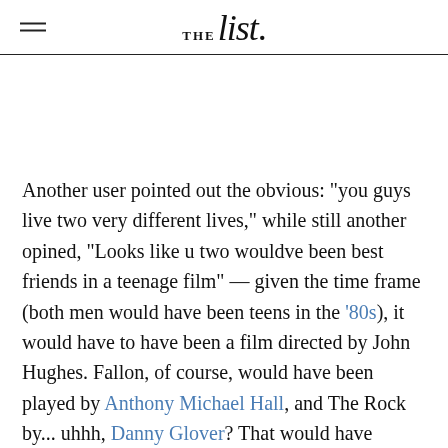THE list.
Another user pointed out the obvious: "you guys live two very different lives," while still another opined, "Looks like u two wouldve been best friends in a teenage film" — given the time frame (both men would have been teens in the '80s), it would have to have been a film directed by John Hughes. Fallon, of course, would have been played by Anthony Michael Hall, and The Rock by... uhhh, Danny Glover? That would have